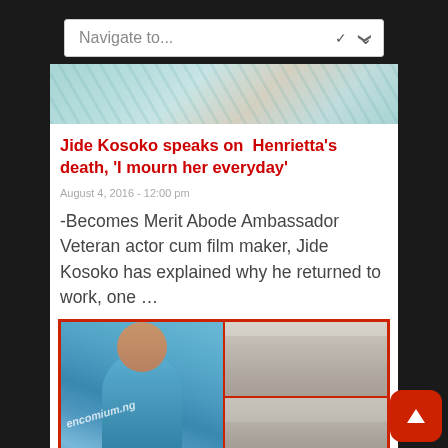[Figure (screenshot): Navigation dropdown bar with 'Navigate to...' placeholder text]
[Figure (photo): Partial top image showing people in light blue/teal attire]
Jide Kosoko speaks on  Henrietta's death, 'I mourn her everyday'
August 4, 2016 - 12:00 pm
-Becomes Merit Abode Ambassador Veteran actor cum film maker, Jide Kosoko has explained why he returned to work, one …
[Figure (photo): Composite photo showing a woman in blue attire on the left, and groups of people in white attire on the right, with encomium.ng watermark]